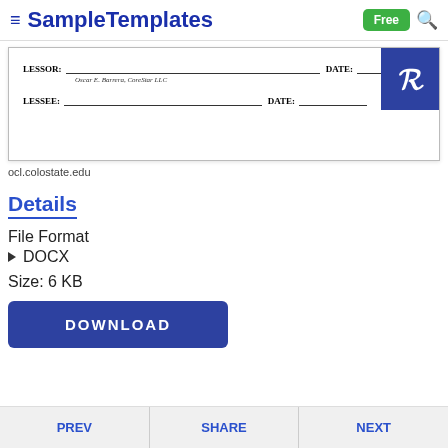SampleTemplates — Free
[Figure (screenshot): Document preview showing a lease signature block with LESSOR and LESSEE signature lines and DATE fields. Includes a Pinterest share button overlay. Signed by Oscar E. Barrera, CoreStar LLC.]
ocl.colostate.edu
Details
File Format
DOCX
Size: 6 KB
DOWNLOAD
PREV   SHARE   NEXT